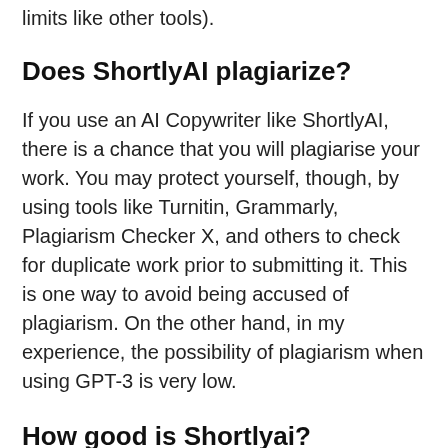you, and you can use as often as you like (no credit limits like other tools).
Does ShortlyAI plagiarize?
If you use an AI Copywriter like ShortlyAI, there is a chance that you will plagiarise your work. You may protect yourself, though, by using tools like Turnitin, Grammarly, Plagiarism Checker X, and others to check for duplicate work prior to submitting it. This is one way to avoid being accused of plagiarism. On the other hand, in my experience, the possibility of plagiarism when using GPT-3 is very low.
How good is Shortlyai?